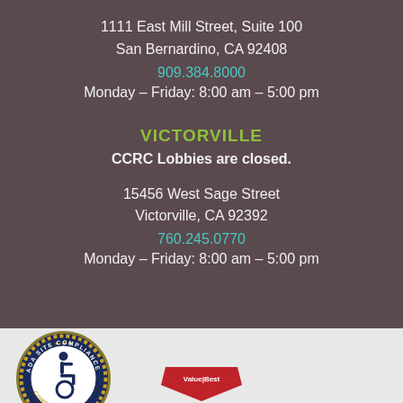1111 East Mill Street, Suite 100
San Bernardino, CA 92408
909.384.8000
Monday – Friday: 8:00 am – 5:00 pm
VICTORVILLE
CCRC Lobbies are closed.
15456 West Sage Street
Victorville, CA 92392
760.245.0770
Monday – Friday: 8:00 am – 5:00 pm
[Figure (logo): ADA Site Compliance badge — circular dark blue badge with gold rope border, gold stars, white wheelchair accessibility symbol in center, text reading ADA SITE COMPLIANCE around the ring]
[Figure (logo): Partial red logo with white text at bottom of page, partially cropped]